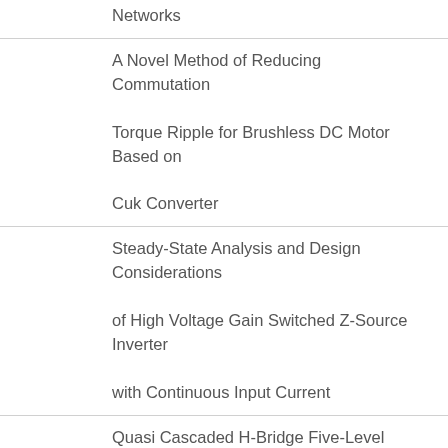Networks
A Novel Method of Reducing Commutation Torque Ripple for Brushless DC Motor Based on Cuk Converter
Steady-State Analysis and Design Considerations of High Voltage Gain Switched Z-Source Inverter with Continuous Input Current
Quasi Cascaded H-Bridge Five-Level Boost Inverter
High Voltage Gain Half-Bridge Z-Source Inverter with Low Voltage Stress on Capacitors
Enhanced-Boost Quasi-Z-Source Inverters with